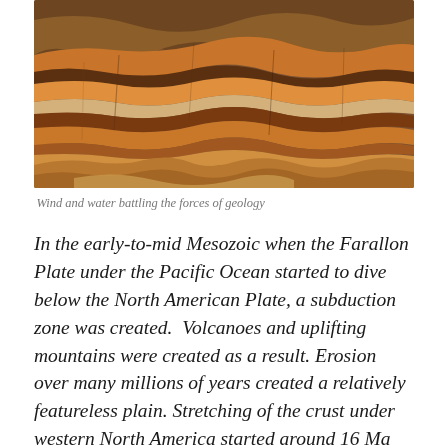[Figure (photo): Aerial or close-up photograph of layered geological formations — eroded rock strata in shades of orange, red, brown and tan, showing banded sedimentary layers sculpted by wind and water erosion.]
Wind and water battling the forces of geology
In the early-to-mid Mesozoic when the Farallon Plate under the Pacific Ocean started to dive below the North American Plate, a subduction zone was created.  Volcanoes and uplifting mountains were created as a result. Erosion over many millions of years created a relatively featureless plain. Stretching of the crust under western North America started around 16 Ma (million years ago) and is thought to be caused by upwelling from the subducted spreading-zone of the Farallon Plate.